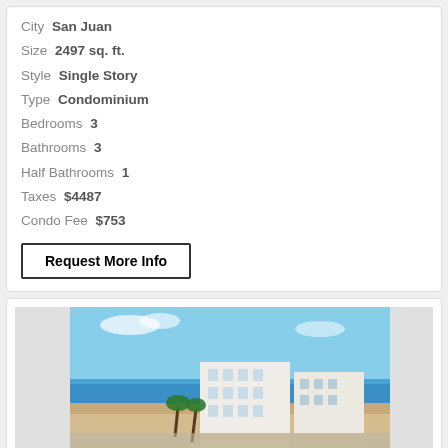City  San Juan
Size  2497 sq. ft.
Style  Single Story
Type  Condominium
Bedrooms  3
Bathrooms  3
Half Bathrooms  1
Taxes  $4487
Condo Fee  $753
Request More Info
[Figure (photo): Aerial photo of a beachfront condominium building with ocean view, sandy beach, and palm trees. Label: 15 photos]
15 photos
Carrion Court, Carrion court Playa